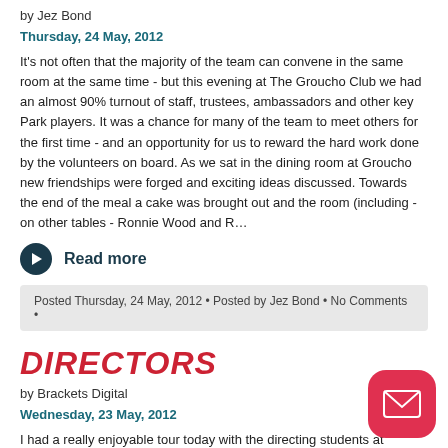by Jez Bond
Thursday, 24 May, 2012
It's not often that the majority of the team can convene in the same room at the same time - but this evening at The Groucho Club we had an almost 90% turnout of staff, trustees, ambassadors and other key Park players. It was a chance for many of the team to meet others for the first time - and an opportunity for us to reward the hard work done by the volunteers on board. As we sat in the dining room at Groucho new friendships were forged and exciting ideas discussed. Towards the end of the meal a cake was brought out and the room (including - on other tables - Ronnie Wood and R…
Read more
Posted Thursday, 24 May, 2012 • Posted by Jez Bond • No Comments •
DIRECTORS
by Brackets Digital
Wednesday, 23 May, 2012
I had a really enjoyable tour today with the directing students at Mountview, where this time last year I was worrying about what would hold.  It was great to meet the new directors, who are about to present a season of work at the Cockpit Theatre before finishing the MA...